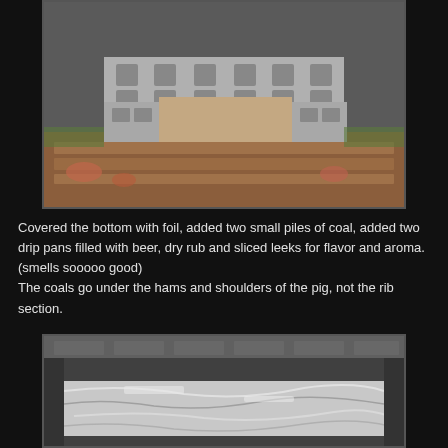[Figure (photo): A rectangular enclosure made of cinder blocks arranged on a wooden pallet outdoors, with reddish/brown soil and grass visible around it. The cinder blocks form a U-shape or rectangular pit structure.]
Covered the bottom with foil, added two small piles of coal, added two drip pans filled with beer, dry rub and sliced leeks for flavor and aroma. (smells sooooo good)
The coals go under the hams and shoulders of the pig, not the rib section.
[Figure (photo): Interior of the cinder block pit showing foil covering the bottom, with the shiny aluminum foil clearly visible, likely covering drip pans or the floor of the cooking enclosure.]